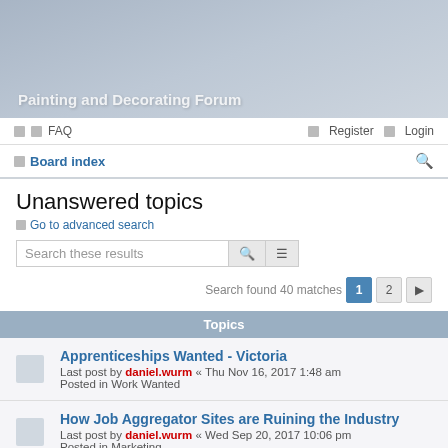Painting and Decorating Forum
FAQ   Register   Login
Board index
Unanswered topics
Go to advanced search
Search these results
Search found 40 matches   1  2
Topics
Apprenticeships Wanted - Victoria
Last post by daniel.wurm « Thu Nov 16, 2017 1:48 am
Posted in Work Wanted
How Job Aggregator Sites are Ruining the Industry
Last post by daniel.wurm « Wed Sep 20, 2017 10:06 pm
Posted in Marketing